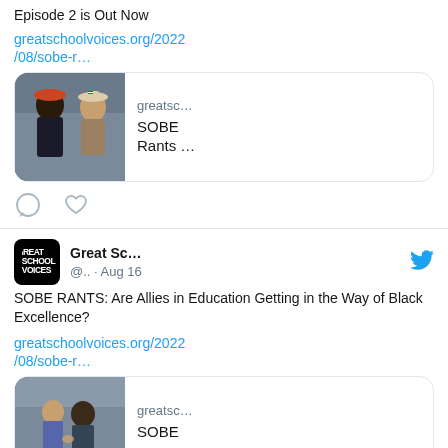Episode 2 is Out Now
greatschoolvoices.org/2022/08/sobe-r…
[Figure (screenshot): Link preview card with image of two people facing each other, domain 'greatsc…' and title 'SOBE Rants …']
[Figure (other): Tweet action icons: comment and heart]
Great Sc… @.. · Aug 16
SOBE RANTS: Are Allies in Education Getting in the Way of Black Excellence?
greatschoolvoices.org/2022/08/sobe-r…
[Figure (screenshot): Link preview card with image of two people, domain 'greatsc…' and title 'SOBE']